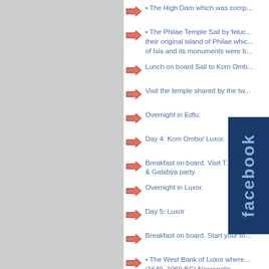The High Dam which was comp...
• The Philae Temple Sail by feluc... their original island of Philae whic... of Isis and its monuments were b...
Lunch on board Sail to Kom Omb...
Visit the temple shared by the tw...
Overnight in Edfu.
Day 4: Kom Ombo/ Luxor.
Breakfast on board. Visit T... & Galabya party.
Overnight in Luxor.
Day 5: Luxor
Breakfast on board. Start your to...
• The West Bank of Luxor where... (1549–1069 BC) Necropolis .
• Then East Bank visiting Luxor T...